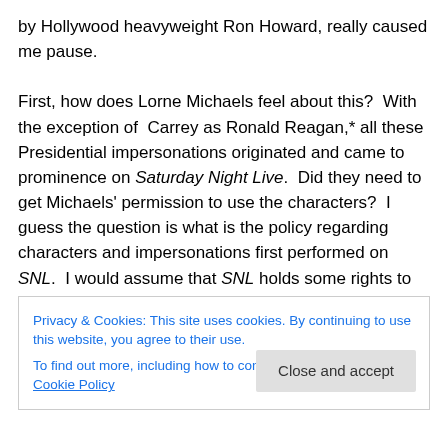by Hollywood heavyweight Ron Howard, really caused me pause.

First, how does Lorne Michaels feel about this?  With the exception of Carrey as Ronald Reagan,* all these Presidential impersonations originated and came to prominence on Saturday Night Live.  Did they need to get Michaels' permission to use the characters?  I guess the question is what is the policy regarding characters and impersonations first performed on SNL.  I would assume that SNL holds some rights to their usage.  But I can easily
Privacy & Cookies: This site uses cookies. By continuing to use this website, you agree to their use.
To find out more, including how to control cookies, see here: Cookie Policy
Close and accept